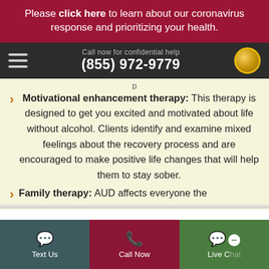Please click here to learn about our coronavirus response and prioritizing your health.
Call now for confidential help (855) 972-9779
Motivational enhancement therapy: This therapy is designed to get you excited and motivated about life without alcohol. Clients identify and examine mixed feelings about the recovery process and are encouraged to make positive life changes that will help them to stay sober.
Family therapy: AUD affects everyone the
Text Us | Call Now | Live Chat